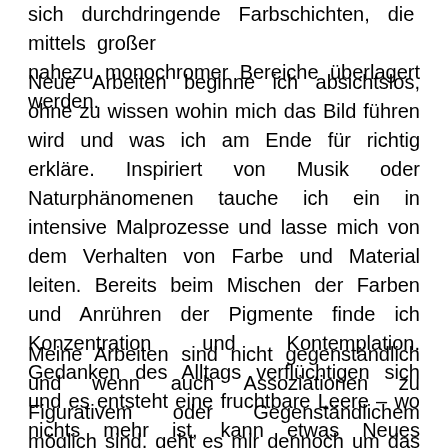sich durchdringende Farbschichten, die mittels großer nahezu monochromer Bereiche überlagert werden.
Neue Arbeiten beginne ich absichtslos, ohne zu wissen wohin mich das Bild führen wird und was ich am Ende für richtig erkläre. Inspiriert von Musik oder Naturphänomenen tauche ich ein in intensive Malprozesse und lasse mich von dem Verhalten von Farbe und Material leiten. Bereits beim Mischen der Farben und Anrühren der Pigmente finde ich Konzentration und Kontemplation. Gedanken des Alltags verflüchtigen sich und es entsteht eine fruchtbare Leere – wo nichts mehr ist, kann etwas Neues entstehen.
Meine Arbeiten sind nicht gegenständlich und wenn auch Assoziationen zu Figurativem oder Gegenständlichem möglich sind, geht es mir dennoch um das Prozessuale, ...